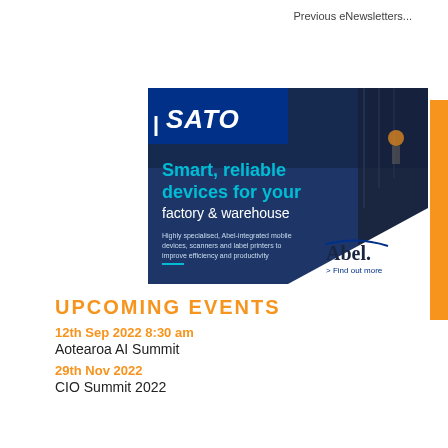Previous eNewsletters...
[Figure (illustration): SATO advertisement banner for Abel: Smart, reliable devices for your factory & warehouse. Features warehouse workers in high-vis vests, SATO logo, Abel logo, and text: Highly specialised, Abel-integrated mobile devices, scanners and label printers to improve efficiency and productivity. > Find out more]
UPCOMING EVENTS
12th Sep 2022 8:30 am
Aotearoa AI Summit
29th Nov 2022
CIO Summit 2022